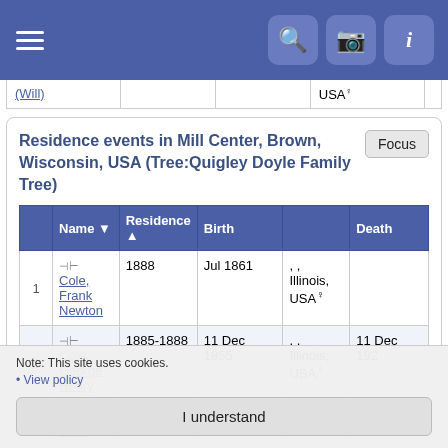Navigation bar with hamburger menu and icons for search, camera, info
|  | (Will) |  |  | USA♀ |  |
| --- | --- | --- | --- | --- | --- |
Residence events in Mill Center, Brown, Wisconsin, USA (Tree:Quigley Doyle Family Tree)
|  | Name ▼ | Residence ▲ | Birth |  | Death |
| --- | --- | --- | --- | --- | --- |
| 1 | Cole, Frank Newton | 1888 | Jul 1861 | , , Illinois, USA♀ |  |
| 2 | Cole, George Henry | 1885-1888 | 11 Dec 1855 | , , Illinois, USA♀ | 11 Dec 192 |
| 3 | Cole, ... | 1888 | 8 Mar 1857 | , , Illinois, | 30 Nov 192 |
Note: This site uses cookies.
• View policy
I understand